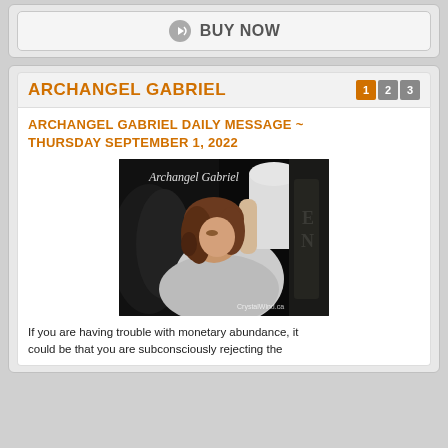[Figure (other): BUY NOW button with a circular arrow/play icon in grey, on a light grey panel]
ARCHANGEL GABRIEL
ARCHANGEL GABRIEL DAILY MESSAGE ~ THURSDAY SEPTEMBER 1, 2022
[Figure (photo): Dark painting of Archangel Gabriel angel with wings, curly hair, white robe, reaching upward. Text 'Archangel Gabriel' in white at top and 'CrystalWind.ca' watermark at bottom right.]
If you are having trouble with monetary abundance, it could be that you are subconsciously rejecting the